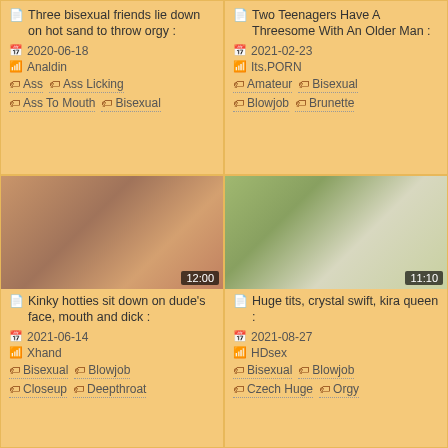Three bisexual friends lie down on hot sand to throw orgy :
2020-06-18
Analdin
Ass  Ass Licking
Ass To Mouth  Bisexual
Two Teenagers Have A Threesome With An Older Man :
2021-02-23
Its.PORN
Amateur  Bisexual
Blowjob  Brunette
[Figure (photo): Two women together, duration 12:00]
Kinky hotties sit down on dude's face, mouth and dick :
2021-06-14
Xhand
Bisexual  Blowjob
Closeup  Deepthroat
[Figure (photo): Group of people outdoors, duration 11:10]
Huge tits, crystal swift, kira queen :
2021-08-27
HDsex
Bisexual  Blowjob
Czech Huge  Orgy